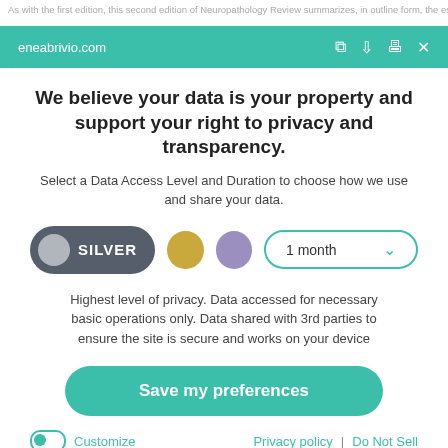As with the first edition, this second edition of Neuropathology Review summarizes, in outline form, the essentials of neuropathology. The
eneabrivio.com
We believe your data is your property and support your right to privacy and transparency.
Select a Data Access Level and Duration to choose how we use and share your data.
[Figure (other): Privacy level selector: SILVER button selected (dark grey pill with grey circle), gold circle option, purple circle option, and '1 month' duration dropdown with teal border]
Highest level of privacy. Data accessed for necessary basic operations only. Data shared with 3rd parties to ensure the site is secure and works on your device
Save my preferences
Customize
Privacy policy  |  Do Not Sell